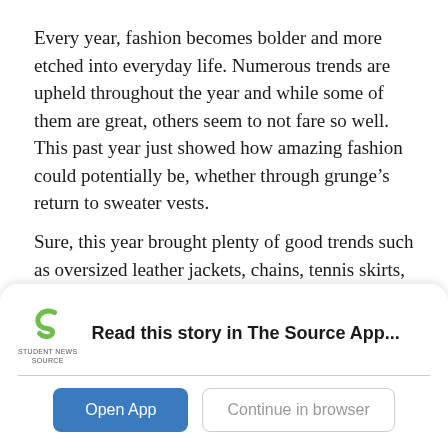Every year, fashion becomes bolder and more etched into everyday life. Numerous trends are upheld throughout the year and while some of them are great, others seem to not fare so well. This past year just showed how amazing fashion could potentially be, whether through grunge’s return to sweater vests.
Sure, this year brought plenty of good trends such as oversized leather jackets, chains, tennis skirts, and collars under crew neck sweaters, however, a vast amount of the trends were atrocious. Here are five trends that should be
[Figure (logo): Student News Source app logo — green stylized 'S' with 'STUDENT NEWS SOURCE' text below]
Read this story in The Source App...
Open App
Continue in browser